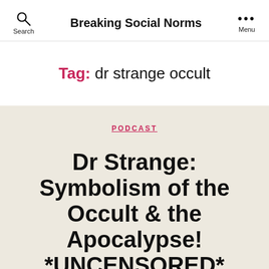Breaking Social Norms
Tag: dr strange occult
PODCAST
Dr Strange: Symbolism of the Occult & the Apocalypse! *UNCENSORED*